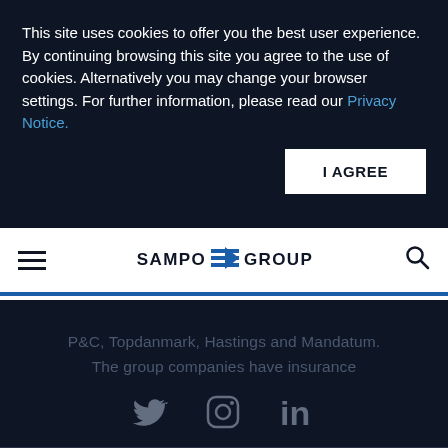This site uses cookies to offer you the best user experience. By continuing browsing this site you agree to the use of cookies. Alternatively you may change your browser settings. For further information, please read our Privacy Notice.
I AGREE
[Figure (logo): Sampo Group logo with navigation bar showing hamburger menu, logo text 'SAMPO GROUP' with arrow icon, and search icon]
P&C, Topdanmark, Hastings and Mandatum. The group companies have insurance operations in Finland, Sweden, Norway, Denmark, the Baltic countries and the UK.
[Figure (other): Social media icons: Twitter bird, Instagram camera, LinkedIn 'in' logo]